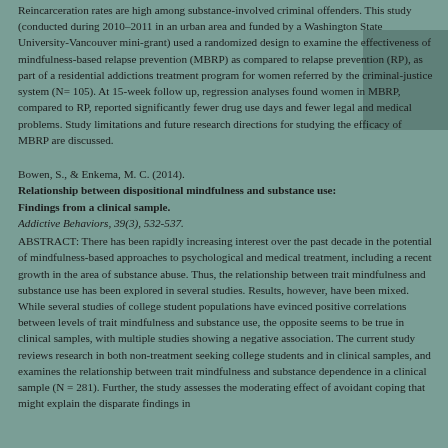Reincarceration rates are high among substance-involved criminal offenders. This study (conducted during 2010–2011 in an urban area and funded by a Washington State University-Vancouver mini-grant) used a randomized design to examine the effectiveness of mindfulness-based relapse prevention (MBRP) as compared to relapse prevention (RP), as part of a residential addictions treatment program for women referred by the criminal-justice system (N= 105). At 15-week follow up, regression analyses found women in MBRP, compared to RP, reported significantly fewer drug use days and fewer legal and medical problems. Study limitations and future research directions for studying the efficacy of MBRP are discussed.
Bowen, S., & Enkema, M. C. (2014).
Relationship between dispositional mindfulness and substance use: Findings from a clinical sample.
Addictive Behaviors, 39(3), 532-537.
ABSTRACT: There has been rapidly increasing interest over the past decade in the potential of mindfulness-based approaches to psychological and medical treatment, including a recent growth in the area of substance abuse. Thus, the relationship between trait mindfulness and substance use has been explored in several studies. Results, however, have been mixed. While several studies of college student populations have evinced positive correlations between levels of trait mindfulness and substance use, the opposite seems to be true in clinical samples, with multiple studies showing a negative association. The current study reviews research in both non-treatment seeking college students and in clinical samples, and examines the relationship between trait mindfulness and substance dependence in a clinical sample (N = 281). Further, the study assesses the moderating effect of avoidant coping that might explain the disparate findings in